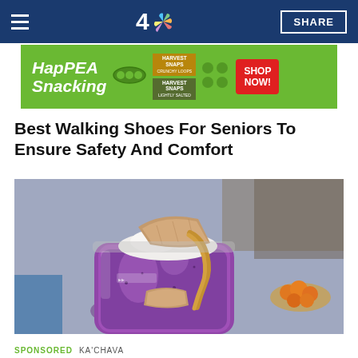NBC 4 | SHARE
[Figure (photo): HapPEA Snacking advertisement banner with Harvest Snaps products and Shop Now button on green background]
Best Walking Shoes For Seniors To Ensure Safety And Comfort
[Figure (photo): Close-up photo of a purple smoothie in a mason jar topped with whipped cream and a graham cracker, with oranges visible in background]
SPONSORED   KA'CHAVA